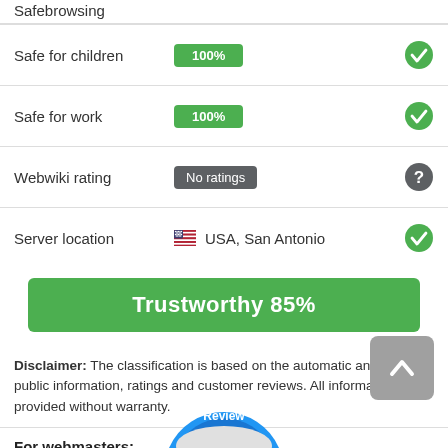Safebrowsing
| Category | Value | Status |
| --- | --- | --- |
| Safe for children | 100% | ✓ |
| Safe for work | 100% | ✓ |
| Webwiki rating | No ratings | ? |
| Server location | USA, San Antonio | ✓ |
Trustworthy 85%
Disclaimer: The classification is based on the automatic analysis of public information, ratings and customer reviews. All information is provided without warranty.
For webmasters:
Add a Webwiki button with the current rating to your website!
[Figure (logo): Customer Review badge - a semicircular blue badge with white text reading 'Customer Review']